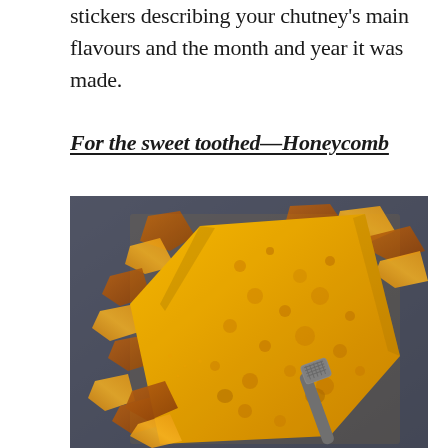stickers describing your chutney's main flavours and the month and year it was made.
For the sweet toothed—Honeycomb
[Figure (photo): Overhead photograph of broken honeycomb candy pieces scattered on a dark tray, with a small silver hammer, showing golden-amber coloured brittle toffee with a porous, aerated texture.]